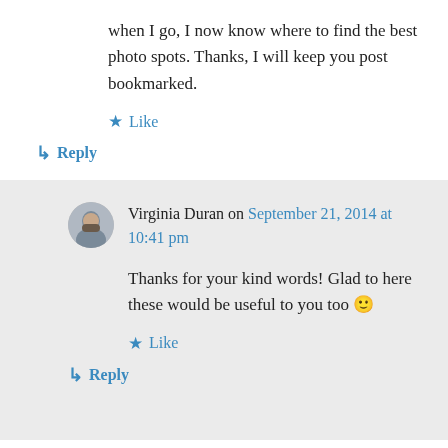when I go, I now know where to find the best photo spots. Thanks, I will keep you post bookmarked.
★ Like
↳ Reply
Virginia Duran on September 21, 2014 at 10:41 pm
Thanks for your kind words! Glad to here these would be useful to you too 🙂
★ Like
↳ Reply